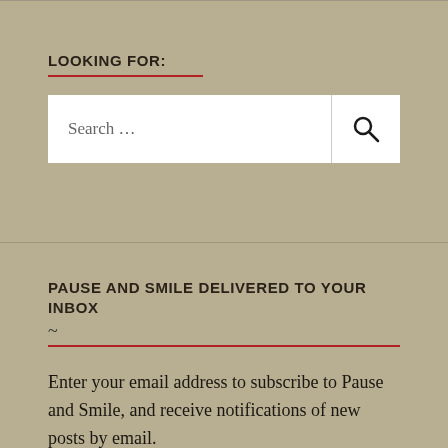LOOKING FOR:
[Figure (screenshot): Search input box with placeholder text 'Search ...' and a magnifying glass icon on the right side]
PAUSE AND SMILE DELIVERED TO YOUR INBOX
Enter your email address to subscribe to Pause and Smile, and receive notifications of new posts by email.